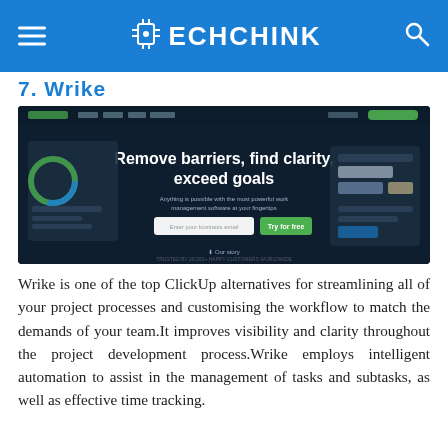TECHCHINK
7. Wrike
[Figure (screenshot): Wrike website homepage screenshot showing 'Remove barriers, find clarity, exceed goals' headline with email input and Try for free button on dark background.]
Wrike is one of the top ClickUp alternatives for streamlining all of your project processes and customising the workflow to match the demands of your team.It improves visibility and clarity throughout the project development process.Wrike employs intelligent automation to assist in the management of tasks and subtasks, as well as effective time tracking.